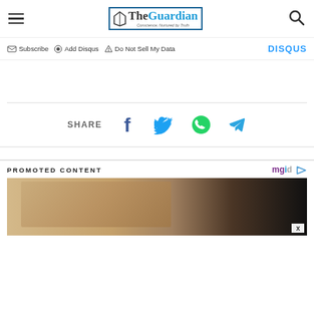The Guardian — navigation header with hamburger menu, logo, and search icon
Subscribe  Add Disqus  Do Not Sell My Data  DISQUS
SHARE — Facebook, Twitter, WhatsApp, Telegram
PROMOTED CONTENT
[Figure (photo): Person with blonde hair and glasses in a blurred background setting]